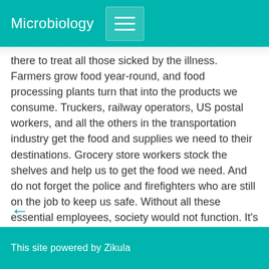Microbiology
there to treat all those sicked by the illness. Farmers grow food year-round, and food processing plants turn that into the products we consume. Truckers, railway operators, US postal workers, and all the others in the transportation industry get the food and supplies we need to their destinations. Grocery store workers stock the shelves and help us to get the food we need. And do not forget the police and firefighters who are still on the job to keep us safe. Without all these essential employees, society would not function. It's a little ironic that these occupations are some of the lowest-paid positions. They should not be!
This site powered by Zikula